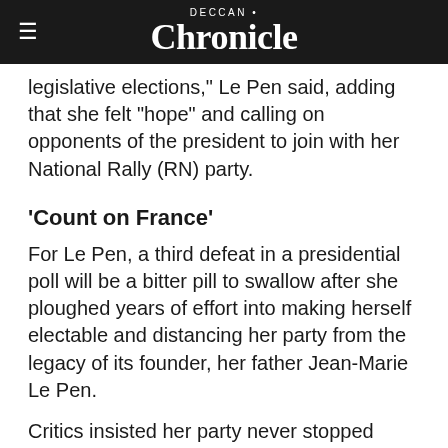DECCAN Chronicle
legislative elections," Le Pen said, adding that she felt "hope" and calling on opponents of the president to join with her National Rally (RN) party.
'Count on France'
For Le Pen, a third defeat in a presidential poll will be a bitter pill to swallow after she ploughed years of effort into making herself electable and distancing her party from the legacy of its founder, her father Jean-Marie Le Pen.
Critics insisted her party never stopped being extreme-right and racist while Macron repeatedly pointed to her plan to ban the wearing of the Muslim headscarf in public if elected.
The projections caused immense relief in Europe after fears a Le Pen presidency would leave the